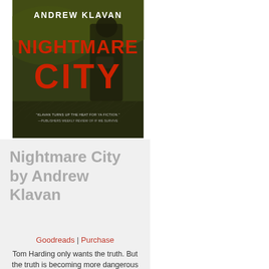[Figure (illustration): Book cover of 'Nightmare City' by Andrew Klavan. Dark background with a shadowy figure. Title 'NIGHTMARE CITY' in large red text, author name 'ANDREW KLAVAN' in white text at top. Quote at bottom referencing Publishers Weekly review of 'If We Survive'.]
Nightmare City by Andrew Klavan
Goodreads | Purchase
Tom Harding only wants the truth. But the truth is becoming more dangerous with every passing minute. As a reporter for his high school